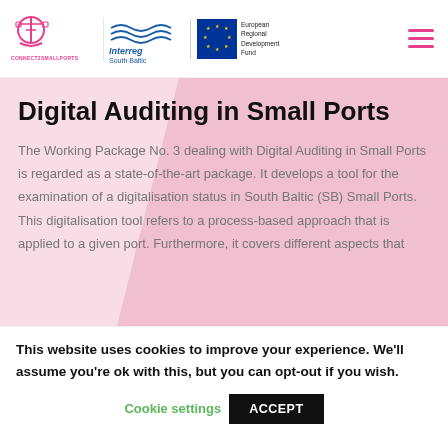Connect2SmallPorts | Interreg South Baltic | European Regional Development Fund
Digital Auditing in Small Ports
The Working Package No. 3 dealing with Digital Auditing in Small Ports is regarded as a state-of-the-art package. It develops a tool for the examination of a digitalisation status in South Baltic (SB) Small Ports. This digitalisation tool refers to a process-based approach that is applied to a given port. Furthermore, it covers different aspects that
This website uses cookies to improve your experience. We'll assume you're ok with this, but you can opt-out if you wish.
Cookie settings    ACCEPT